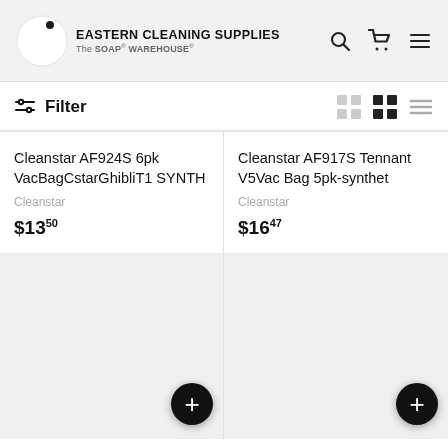EASTERN CLEANING SUPPLIES The SOAP WAREHOUSE
Filter
Cleanstar AF924S 6pk VacBagCstarGhibliT1 SYNTH
Cleanstar
$13.50
Cleanstar AF917S Tennant V5Vac Bag 5pk-synthet
Cleanstar
$16.47